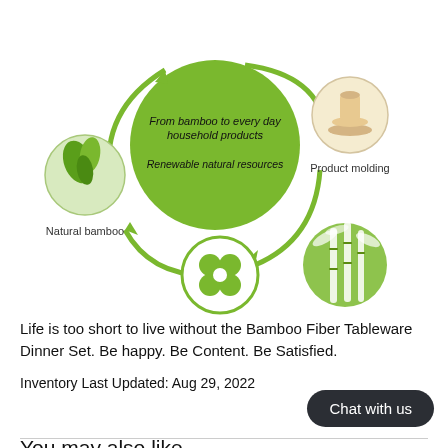[Figure (infographic): Circular lifecycle diagram with green central circle labeled 'From bamboo to every day household products' and 'Renewable natural resources'. Surrounding icons: Natural bamboo (left), Product molding (top right), Degradable clover icon (bottom center), bamboo circle illustration (bottom right). Green curved arrows indicate cycle flow.]
Life is too short to live without the Bamboo Fiber Tableware Dinner Set. Be happy. Be Content. Be Satisfied.
Inventory Last Updated: Aug 29, 2022
Chat with us
You may also like